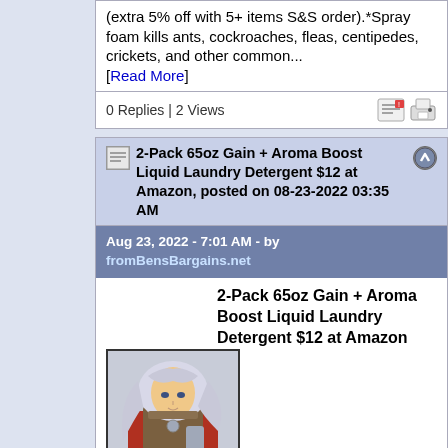(extra 5% off with 5+ items S&S order).*Spray foam kills ants, cockroaches, fleas, centipedes, crickets, and other common... [Read More]
0 Replies | 2 Views
2-Pack 65oz Gain + Aroma Boost Liquid Laundry Detergent $12 at Amazon, posted on 08-23-2022 03:35 AM
Aug 23, 2022 - 7:01 AM - by fromBensBargains.net
2-Pack 65oz Gain + Aroma Boost Liquid Laundry Detergent $12 at Amazon
[Figure (illustration): Anime-style character with long silver hair wearing armor, holding a weapon, against a red/brown background]
Amazon has the 2-Pack 65oz Gain + Aroma Boost Liquid Laundry Detergent (Moonlight Breeze Scent) for $15.46 - $3 off coupon (check "Save an extra" box, eligible on first S&S order for this product) - 5% off with Subscribe & Save (can